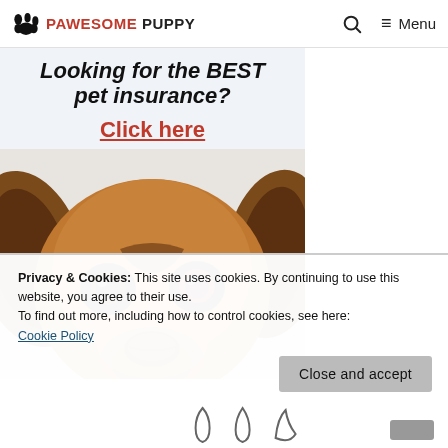PAWESOME PUPPY — Menu
[Figure (illustration): Advertisement banner for pet insurance featuring bold headline text 'Looking for the BEST pet insurance?' with a red underlined 'Click here' call-to-action, and a close-up photo of a dog (Beagle/mixed breed) peeking up with big eyes against a light background]
Privacy & Cookies: This site uses cookies. By continuing to use this website, you agree to their use.
To find out more, including how to control cookies, see here:
Cookie Policy
Close and accept